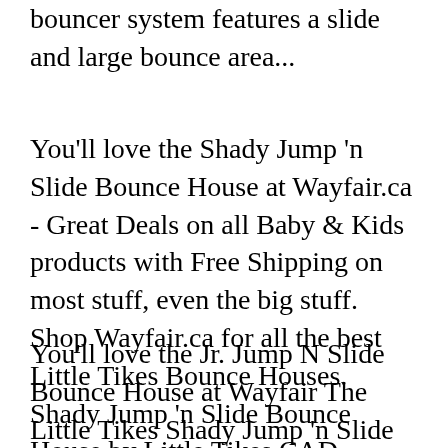bouncer system features a slide and large bounce area...
You'll love the Shady Jump 'n Slide Bounce House at Wayfair.ca - Great Deals on all Baby & Kids products with Free Shipping on most stuff, even the big stuff. Shop Wayfair.ca for all the best Little Tikes Bounce Houses. Shady Jump 'n Slide Bounce House by Little Tikes CAD $469.99
You'll love the Jr. Jump N Slide Bounce House at Wayfair The Little Tikes Shady Jump 'n Slide is sure to engage your kids in fun activity blower and instructions; The Little Tikes Shady Jump 'n Slide is Give your kids hours of